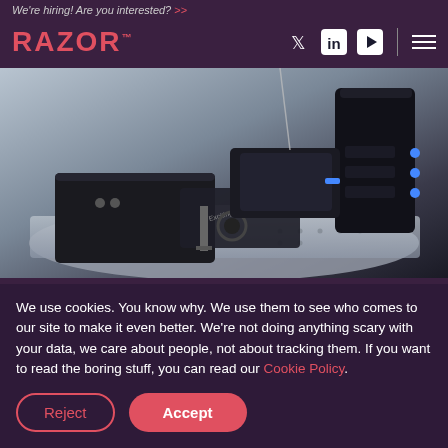We're hiring! Are you interested? >>
[Figure (logo): RAZOR logo in red/pink text on dark purple background with social media icons (Twitter, LinkedIn, YouTube) and hamburger menu]
[Figure (photo): Scientific/laboratory instrument showing black electronic equipment boxes and robotic arm mounted on optical breadboard, with 'Exciting Instruments' branding visible]
We use cookies. You know why. We use them to see who comes to our site to make it even better. We're not doing anything scary with your data, we care about people, not about tracking them. If you want to read the boring stuff, you can read our Cookie Policy.